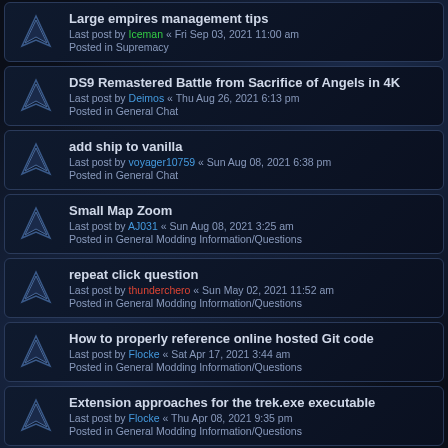Large empires management tips
Last post by Iceman « Fri Sep 03, 2021 11:00 am
Posted in Supremacy
DS9 Remastered Battle from Sacrifice of Angels in 4K
Last post by Deimos « Thu Aug 26, 2021 6:13 pm
Posted in General Chat
add ship to vanilla
Last post by voyager10759 « Sun Aug 08, 2021 6:38 pm
Posted in General Chat
Small Map Zoom
Last post by AJ031 « Sun Aug 08, 2021 3:25 am
Posted in General Modding Information/Questions
repeat click question
Last post by thunderchero « Sun May 02, 2021 11:52 am
Posted in General Modding Information/Questions
How to properly reference online hosted Git code
Last post by Flocke « Sat Apr 17, 2021 3:44 am
Posted in General Modding Information/Questions
Extension approaches for the trek.exe executable
Last post by Flocke « Thu Apr 08, 2021 9:35 pm
Posted in General Modding Information/Questions
Widget Count Increase (Info)
Last post by Tethys « Mon Mar 29, 2021 3:33 am
Posted in General Modding Information/Questions
BotF clone for android?
Last post by ...